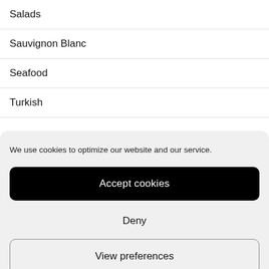Salads
Sauvignon Blanc
Seafood
Turkish
We use cookies to optimize our website and our service.
Accept cookies
Deny
View preferences
Cookie policy